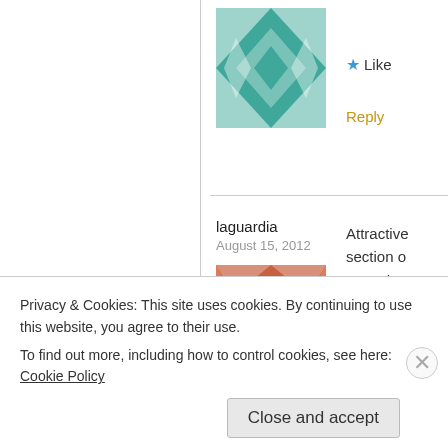[Figure (illustration): Teal/green geometric quilt-pattern avatar for first commenter (partially visible at top)]
Like
Reply
laguardia
August 15, 2012
[Figure (illustration): Red/orange geometric quilt-pattern avatar for laguardia]
Attractive section o very nice.
Like
Reply
Ravin
June 28, 2012
[Figure (illustration): Pink/magenta geometric quilt-pattern avatar for Ravin (partially visible)]
Very interesting su
Like
Privacy & Cookies: This site uses cookies. By continuing to use this website, you agree to their use.
To find out more, including how to control cookies, see here: Cookie Policy
Close and accept